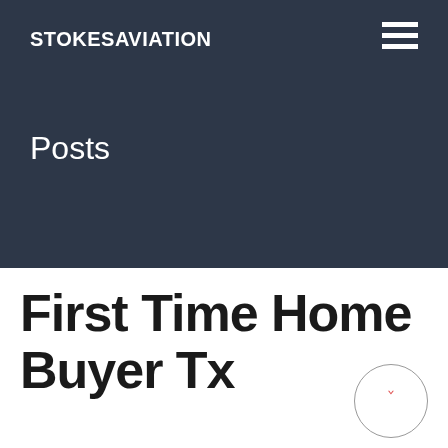STOKESAVIATION
Posts
First Time Home Buyer Tx